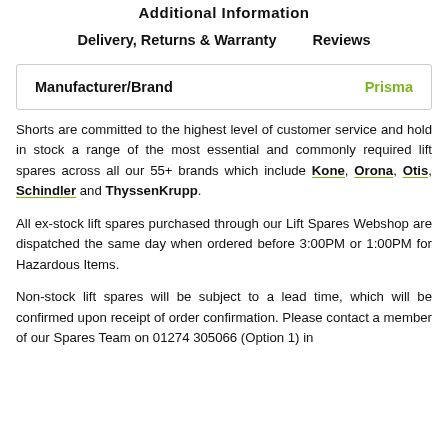Additional Information
Delivery, Returns & Warranty    Reviews
| Manufacturer/Brand | Prisma |
| --- | --- |
Shorts are committed to the highest level of customer service and hold in stock a range of the most essential and commonly required lift spares across all our 55+ brands which include Kone, Orona, Otis, Schindler and ThyssenKrupp.
All ex-stock lift spares purchased through our Lift Spares Webshop are dispatched the same day when ordered before 3:00PM or 1:00PM for Hazardous Items.
Non-stock lift spares will be subject to a lead time, which will be confirmed upon receipt of order confirmation. Please contact a member of our Spares Team on 01274 305066 (Option 1) in